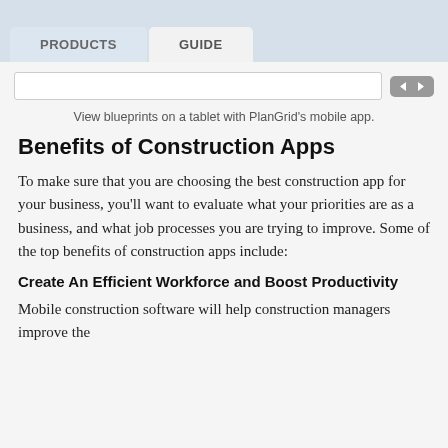PRODUCTS | GUIDE
[Figure (screenshot): Search bar with navigation arrows on a light gray background]
View blueprints on a tablet with PlanGrid's mobile app.
Benefits of Construction Apps
To make sure that you are choosing the best construction app for your business, you'll want to evaluate what your priorities are as a business, and what job processes you are trying to improve. Some of the top benefits of construction apps include:
Create An Efficient Workforce and Boost Productivity
Mobile construction software will help construction managers improve the